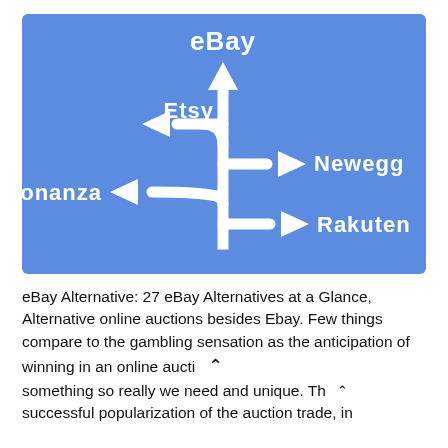[Figure (infographic): Blue road-sign style infographic showing eBay at top with a straight arrow pointing up, Etsy with a curved arrow pointing left, Bonanza with a curved arrow pointing left, Newegg with a curved arrow pointing right, and Rakuten with a curved arrow pointing right — all branching from a central vertical path.]
eBay Alternative: 27 eBay Alternatives at a Glance, Alternative online auctions besides Ebay. Few things compare to the gambling sensation as the anticipation of winning in an online aucti something so really we need and unique. Th successful popularization of the auction trade, in